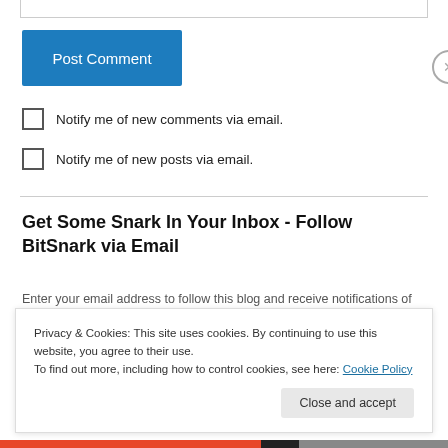[Figure (other): Bottom border of a text input field]
Post Comment
Notify me of new comments via email.
Notify me of new posts via email.
Get Some Snark In Your Inbox - Follow BitSnark via Email
Enter your email address to follow this blog and receive notifications of
Privacy & Cookies: This site uses cookies. By continuing to use this website, you agree to their use. To find out more, including how to control cookies, see here: Cookie Policy
Close and accept